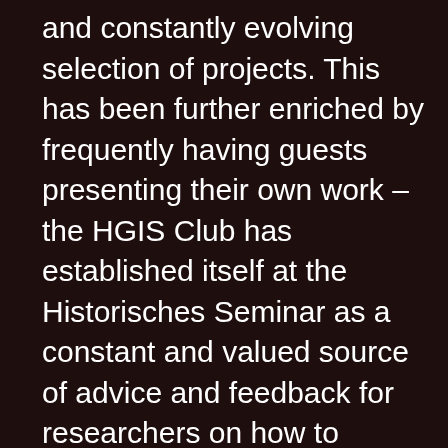and constantly evolving selection of projects. This has been further enriched by frequently having guests presenting their own work – the HGIS Club has established itself at the Historisches Seminar as a constant and valued source of advice and feedback for researchers on how to incorporate the dimension of space into one's own research projects.
The idea for the Virtual Research Environment heiMAP was born from the experience gathered over the years in the HGIS Club. It became more and more apparent that many of the applications for GIS technology in History and the Humanities in general do not require anything about your own capabilities